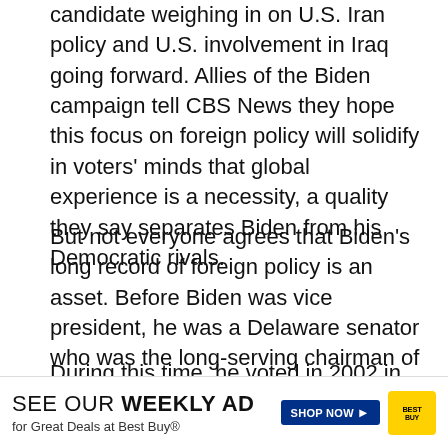candidate weighing in on U.S. Iran policy and U.S. involvement in Iraq going forward. Allies of the Biden campaign tell CBS News they hope this focus on foreign policy will solidify in voters' minds that global experience is a necessity, a quality they say separates Biden from his Democratic rivals.
But not everyone agrees that Biden's long record of foreign policy is an asset. Before Biden was vice president, he was a Delaware senator who was the long-serving chairman of the Senate Foreign Relations Committee.
During this time, he voted in 2002 in favor of the Iraq War resolution, a vote that Biden's rivals — most notably Senator Bernie Sanders — criticize him fo
[Figure (other): Best Buy advertisement banner: 'SEE OUR WEEKLY AD for Great Deals at Best Buy®' with SHOP NOW button and Best Buy logo]